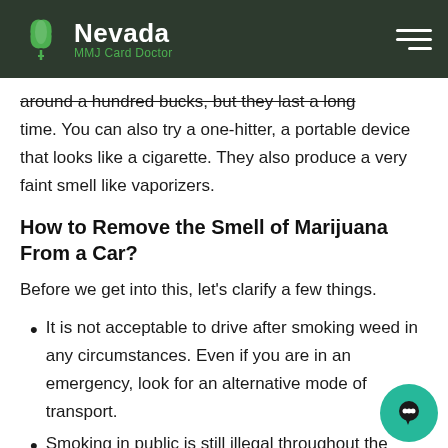Nevada MMJ Card Doctor
around a hundred bucks, but they last a long time. You can also try a one-hitter, a portable device that looks like a cigarette. They also produce a very faint smell like vaporizers.
How to Remove the Smell of Marijuana From a Car?
Before we get into this, let’s clarify a few things.
It is not acceptable to drive after smoking weed in any circumstances. Even if you are in an emergency, look for an alternative mode of transport.
Smoking in public is still illegal throughout the